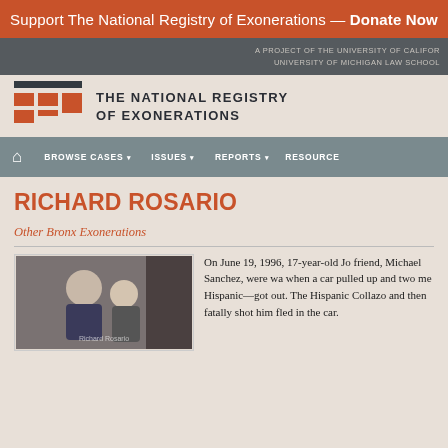Support The National Registry of Exonerations — Donate Now
A PROJECT OF THE UNIVERSITY OF CALIFORNIA IRVINE SCHOOL OF LAW AND THE UNIVERSITY OF MICHIGAN LAW SCHOOL
[Figure (logo): The National Registry of Exonerations logo with orange rectangular icon and bold uppercase text]
BROWSE CASES   ISSUES   REPORTS   RESOURCES
RICHARD ROSARIO
Other Bronx Exonerations
[Figure (photo): Photo of Richard Rosario with a woman, both smiling]
On June 19, 1996, 17-year-old Jo friend, Michael Sanchez, were wa when a car pulled up and two me Hispanic—got out. The Hispanic Collazo and then fatally shot him fled in the car.